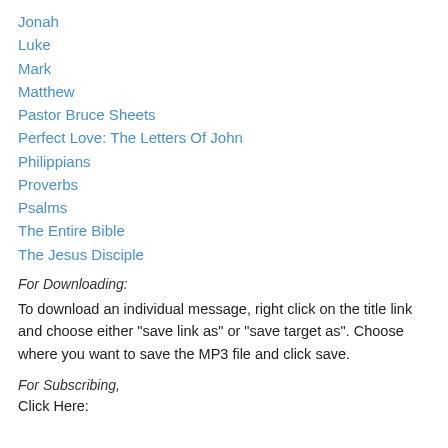Jonah
Luke
Mark
Matthew
Pastor Bruce Sheets
Perfect Love: The Letters Of John
Philippians
Proverbs
Psalms
The Entire Bible
The Jesus Disciple
For Downloading:
To download an individual message, right click on the title link and choose either "save link as" or "save target as". Choose where you want to save the MP3 file and click save.
For Subscribing,
Click Here: